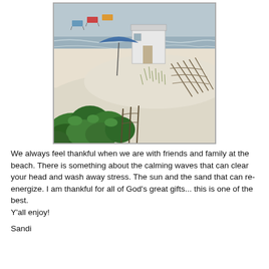[Figure (photo): Beach scene viewed from a balcony or elevated position showing white sand dunes with beach grass, a small white wooden beach hut/cabana, blue beach umbrellas, beach chairs, green shrubs in the foreground, and a wooden fence. The ocean/water is visible in the background.]
We always feel thankful when we are with friends and family at the beach. There is something about the calming waves that can clear your head and wash away stress. The sun and the sand that can re-energize. I am thankful for all of God's great gifts... this is one of the best.
Y'all enjoy!
Sandi